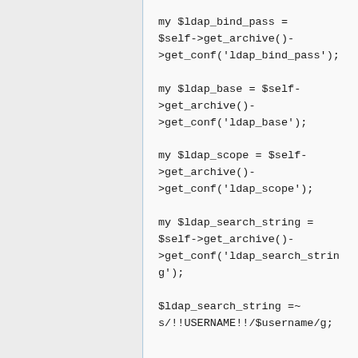my $ldap_bind_pass = $self->get_archive()->get_conf('ldap_bind_pass');

my $ldap_base = $self->get_archive()->get_conf('ldap_base');

my $ldap_scope = $self->get_archive()->get_conf('ldap_scope');

my $ldap_search_string = $self->get_archive()->get_conf('ldap_search_string');

$ldap_search_string =~ s/!!USERNAME!!/$username/g;


# récupération des valeurs par défaut que le LDAP ne renverra pas (sauf email)